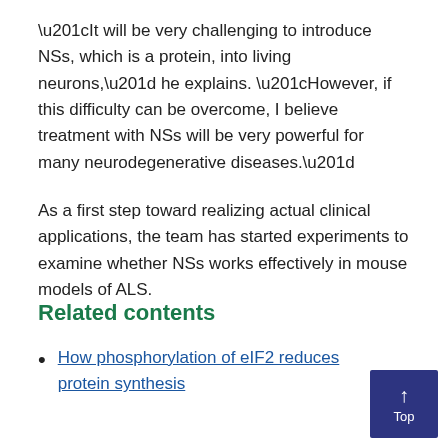“It will be very challenging to introduce NSs, which is a protein, into living neurons,” he explains. “However, if this difficulty can be overcome, I believe treatment with NSs will be very powerful for many neurodegenerative diseases.”

As a first step toward realizing actual clinical applications, the team has started experiments to examine whether NSs works effectively in mouse models of ALS.
Related contents
How phosphorylation of eIF2 reduces protein synthesis